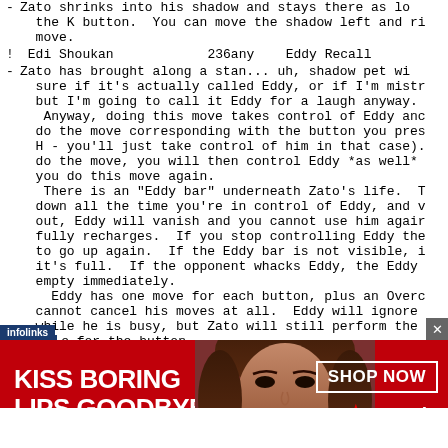- Zato shrinks into his shadow and stays there as long as you hold the K button.  You can move the shadow left and right as you move.
! Edi Shoukan   236any   Eddy Recall
- Zato has brought along a stan... uh, shadow pet wi... sure if it's actually called Eddy, or if I'm mistr... but I'm going to call it Eddy for a laugh anyway.
  Anyway, doing this move takes control of Eddy and do the move corresponding with the button you pres... H - you'll just take control of him in that case). do the move, you will then control Eddy *as well* you do this move again.
  There is an "Eddy bar" underneath Zato's life. down all the time you're in control of Eddy, and v... out, Eddy will vanish and you cannot use him again fully recharges.  If you stop controlling Eddy the to go up again.  If the Eddy bar is not visible, i it's full.  If the opponent whacks Eddy, the Eddy empty immediately.
  Eddy has one move for each button, plus an Overc cannot cancel his moves at all.  Eddy will ignore while he is busy, but Zato will still perform the e for the button.
[Figure (infographic): Advertisement banner for Macy's lipstick/beauty product. Red background with woman's face photo. Text: 'KISS BORING LIPS GOODBYE' on left, 'SHOP NOW' button and Macy's star logo on right. Infolinks label overlay at bottom left.]